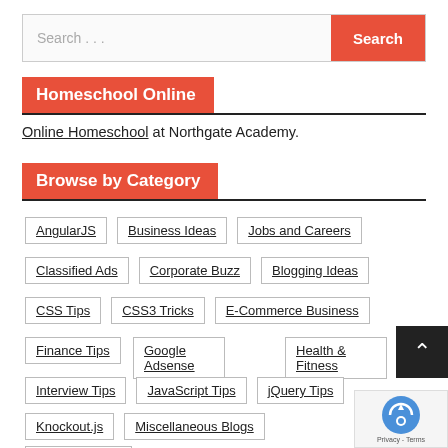Search ...
Homeschool Online
Online Homeschool at Northgate Academy.
Browse by Category
AngularJS
Business Ideas
Jobs and Careers
Classified Ads
Corporate Buzz
Blogging Ideas
CSS Tips
CSS3 Tricks
E-Commerce Business
Finance Tips
Google Adsense
Health & Fitness
Interview Tips
JavaScript Tips
jQuery Tips
Knockout.js
Miscellaneous Blogs
Mobile Review
Money Making Ideas
MySQL Tips
PHP Tips